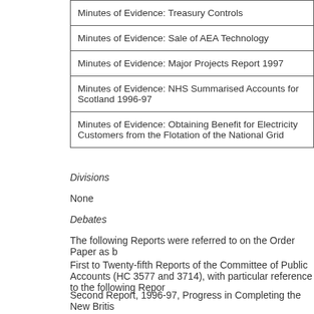| Minutes of Evidence: Treasury Controls |
| Minutes of Evidence: Sale of AEA Technology |
| Minutes of Evidence: Major Projects Report 1997 |
| Minutes of Evidence: NHS Summarised Accounts for Scotland 1996-97 |
| Minutes of Evidence: Obtaining Benefit for Electricity Customers from the Flotation of the National Grid |
Divisions
None
Debates
The following Reports were referred to on the Order Paper as b
First to Twenty-fifth Reports of the Committee of Public Accounts (HC 3577 and 3714), with particular reference to the following Repor
Second Report, 1996-97, Progress in Completing the New Britis